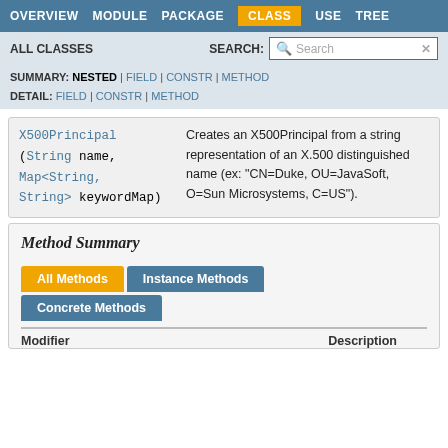OVERVIEW  MODULE  PACKAGE  CLASS  USE  TREE
ALL CLASSES  SEARCH:
SUMMARY: NESTED | FIELD | CONSTR | METHOD
DETAIL: FIELD | CONSTR | METHOD
| Constructor | Description |
| --- | --- |
| X500Principal(String name, Map<String,String> keywordMap) | Creates an X500Principal from a string representation of an X.500 distinguished name (ex: "CN=Duke, OU=JavaSoft, O=Sun Microsystems, C=US"). |
Method Summary
All Methods   Instance Methods   Concrete Methods
| Modifier | Method | Description |
| --- | --- | --- |